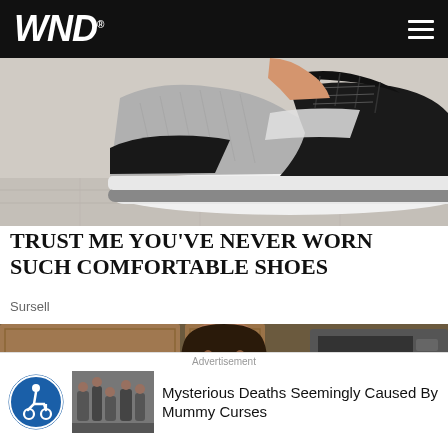WND
[Figure (photo): Close-up photo of a black and grey knit athletic sneaker with white sole on a light wood surface]
TRUST ME YOU'VE NEVER WORN SUCH COMFORTABLE SHOES
Sursell
[Figure (photo): Woman with long dark hair in a kitchen wearing a blue shirt, looking down]
[Figure (photo): Thumbnail image of people in a gym or fitness setting]
Advertisement
Mysterious Deaths Seemingly Caused By Mummy Curses